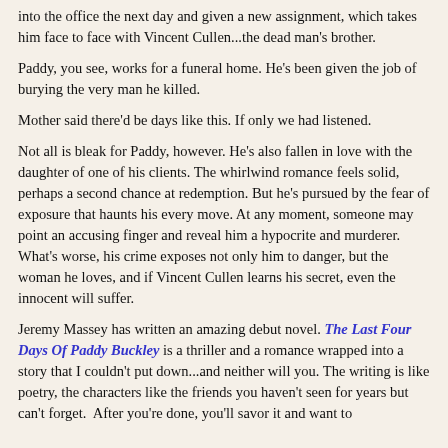into the office the next day and given a new assignment, which takes him face to face with Vincent Cullen...the dead man's brother.
Paddy, you see, works for a funeral home. He's been given the job of burying the very man he killed.
Mother said there'd be days like this. If only we had listened.
Not all is bleak for Paddy, however. He's also fallen in love with the daughter of one of his clients. The whirlwind romance feels solid, perhaps a second chance at redemption. But he's pursued by the fear of exposure that haunts his every move. At any moment, someone may point an accusing finger and reveal him a hypocrite and murderer. What's worse, his crime exposes not only him to danger, but the woman he loves, and if Vincent Cullen learns his secret, even the innocent will suffer.
Jeremy Massey has written an amazing debut novel. The Last Four Days Of Paddy Buckley is a thriller and a romance wrapped into a story that I couldn't put down...and neither will you. The writing is like poetry, the characters like the friends you haven't seen for years but can't forget.  After you're done, you'll savor it and want to